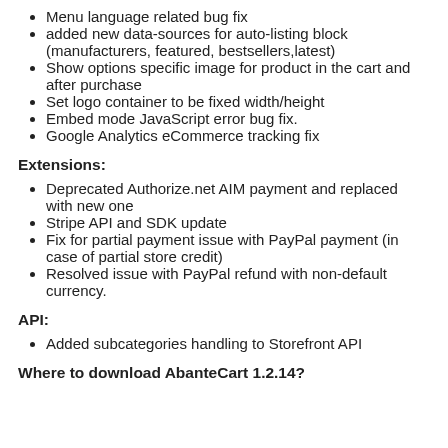Menu language related bug fix
added new data-sources for auto-listing block (manufacturers, featured, bestsellers,latest)
Show options specific image for product in the cart and after purchase
Set logo container to be fixed width/height
Embed mode JavaScript error bug fix.
Google Analytics eCommerce tracking fix
Extensions:
Deprecated Authorize.net AIM payment and replaced with new one
Stripe API and SDK update
Fix for partial payment issue with PayPal payment (in case of partial store credit)
Resolved issue with PayPal refund with non-default currency.
API:
Added subcategories handling to Storefront API
Where to download AbanteCart 1.2.14?